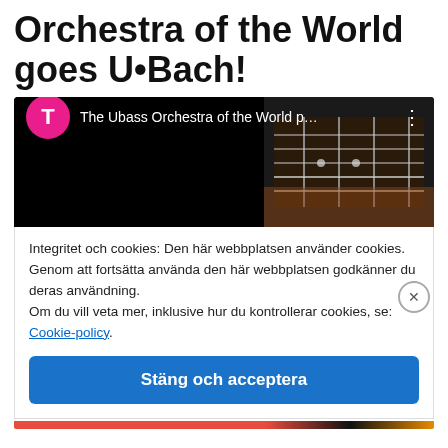Orchestra of the World goes U•Bach!
[Figure (screenshot): YouTube video thumbnail showing 'The Ubass Orchestra of the World p...' with pink circular avatar with letter T, and guitar fretboard image on right side, on black background]
Integritet och cookies: Den här webbplatsen använder cookies. Genom att fortsätta använda den här webbplatsen godkänner du deras användning.
Om du vill veta mer, inklusive hur du kontrollerar cookies, se: Cookie-policy.
Stäng och acceptera